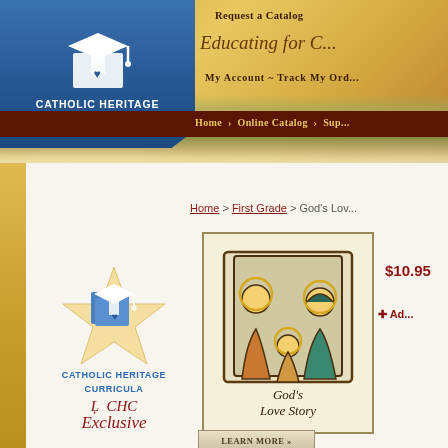[Figure (screenshot): Catholic Heritage Curricula website header with blue logo box top-left showing mortarboard icon and text, golden/autumn landscape background, dark brown navigation bar, 'Online Catalog' heading in dark red, breadcrumb navigation, CHC Exclusive badge, and God's Love Story book cover]
Request a Catalog | My Account ~ Track My Order | Home | Online Catalog | Sup...
Online Catalog
Home > First Grade > God's Lov...
$10.95
+ Ad...
[Figure (logo): Catholic Heritage Curricula logo with blue 3D box/mortarboard icon on star/badge background, text: Catholic Heritage Curricula, A CHC Exclusive]
[Figure (illustration): God's Love Story book cover showing Holy Family illustration in woodcut style with Joseph, Mary, and child Jesus with halos, text 'God's Love Story' at bottom]
Learn More >>